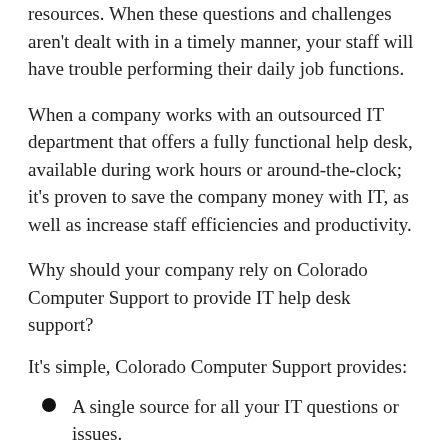resources. When these questions and challenges aren't dealt with in a timely manner, your staff will have trouble performing their daily job functions.
When a company works with an outsourced IT department that offers a fully functional help desk, available during work hours or around-the-clock; it's proven to save the company money with IT, as well as increase staff efficiencies and productivity.
Why should your company rely on Colorado Computer Support to provide IT help desk support?
It's simple, Colorado Computer Support provides:
A single source for all your IT questions or issues.